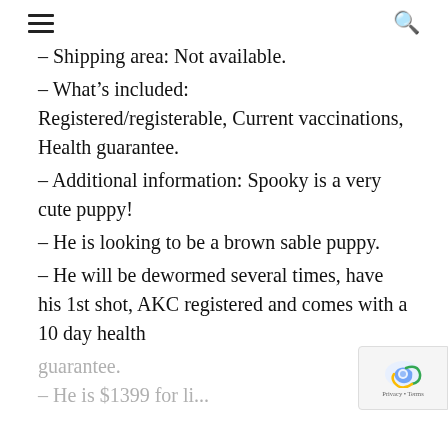☰ 🔍
– Shipping area: Not available.
– What's included: Registered/registerable, Current vaccinations, Health guarantee.
– Additional information: Spooky is a very cute puppy!
– He is looking to be a brown sable puppy.
– He will be dewormed several times, have his 1st shot, AKC registered and comes with a 10 day health
guarantee.
– He is $1399 for li...